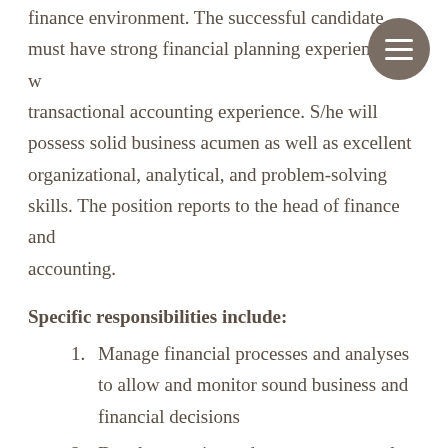finance environment. The successful candidate must have strong financial planning experience as well as transactional accounting experience. S/he will possess solid business acumen as well as excellent organizational, analytical, and problem-solving skills. The position reports to the head of finance and accounting.
Specific responsibilities include:
Manage financial processes and analyses to allow and monitor sound business and financial decisions
Develop metrics and measurement tools to improve analysis